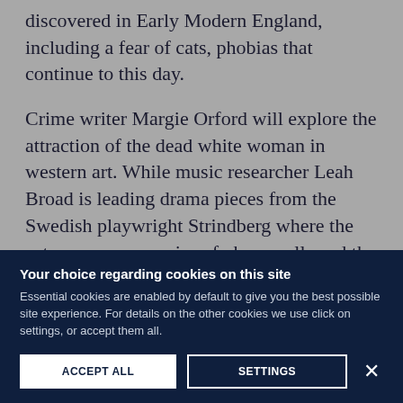discovered in Early Modern England, including a fear of cats, phobias that continue to this day.
Crime writer Margie Orford will explore the attraction of the dead white woman in western art. While music researcher Leah Broad is leading drama pieces from the Swedish playwright Strindberg where the actor answers a series of phone calls and the audience only hears half the eerie conversation. Again we develop a very real sense of the fundamental fears that drive what we do.
(partial text, cut off at bottom)
Your choice regarding cookies on this site
Essential cookies are enabled by default to give you the best possible site experience. For details on the other cookies we use click on settings, or accept them all.